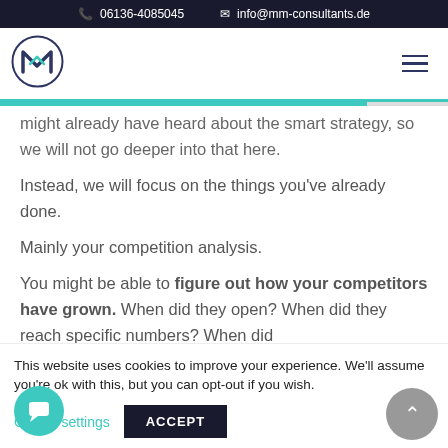06136-4085045   info@mm-consultants.de
[Figure (logo): MM Consultants circular logo with M lettermark in dark blue and teal]
might already have heard about the smart strategy, so we will not go deeper into that here.
Instead, we will focus on the things you've already done.
Mainly your competition analysis.
You might be able to figure out how your competitors have grown. When did they open? When did they reach specific numbers? When did
This website uses cookies to improve your experience. We'll assume you're ok with this, but you can opt-out if you wish.